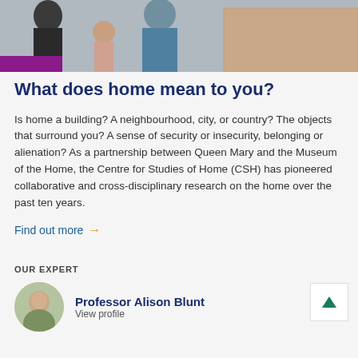[Figure (photo): Group of people including a child standing outdoors near a brick building, with a purple banner element at bottom left.]
What does home mean to you?
Is home a building? A neighbourhood, city, or country? The objects that surround you? A sense of security or insecurity, belonging or alienation? As a partnership between Queen Mary and the Museum of the Home, the Centre for Studies of Home (CSH) has pioneered collaborative and cross-disciplinary research on the home over the past ten years.
Find out more →
OUR EXPERT
Professor Alison Blunt
View profile